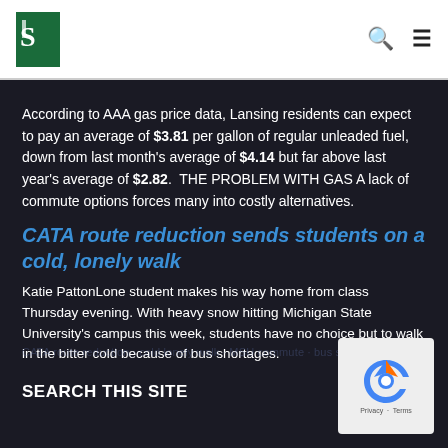[MSU logo] [search icon] [menu icon]
According to AAA gas price data, Lansing residents can expect to pay an average of $3.81 per gallon of regular unleaded fuel, down from last month's average of $4.14 but far above last year's average of $2.82.  THE PROBLEM WITH GAS A lack of commute options forces many into costly alternatives.
CATA route reduction sends students on a cold, lonely walk
Katie PattonLone student makes his way home from class Thursday evening. With heavy snow hitting Michigan State University's campus this week, students have no choice but to walk in the bitter cold because of bus shortages.
SEARCH THIS SITE